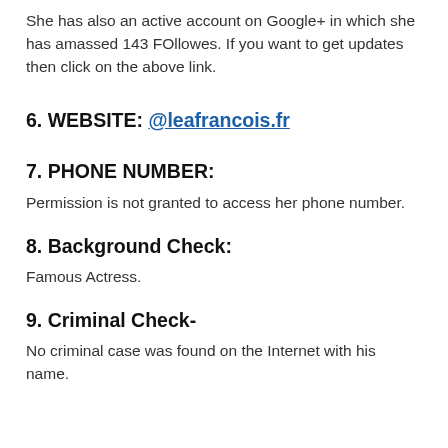She has also an active account on Google+ in which she has amassed 143 FOllowes. If you want to get updates then click on the above link.
6. WEBSITE: @leafrancois.fr
7. PHONE NUMBER:
Permission is not granted to access her phone number.
8. Background Check:
Famous Actress.
9. Criminal Check-
No criminal case was found on the Internet with his name.